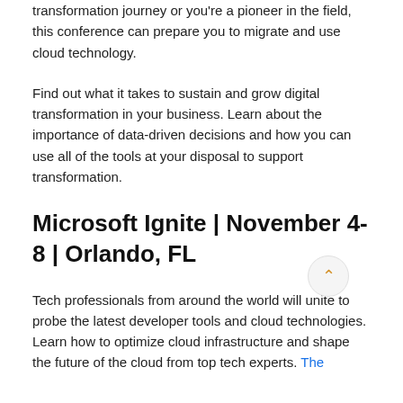transformation journey or you're a pioneer in the field, this conference can prepare you to migrate and use cloud technology.
Find out what it takes to sustain and grow digital transformation in your business. Learn about the importance of data-driven decisions and how you can use all of the tools at your disposal to support transformation.
Microsoft Ignite | November 4-8 | Orlando, FL
Tech professionals from around the world will unite to probe the latest developer tools and cloud technologies. Learn how to optimize cloud infrastructure and shape the future of the cloud from top tech experts. The